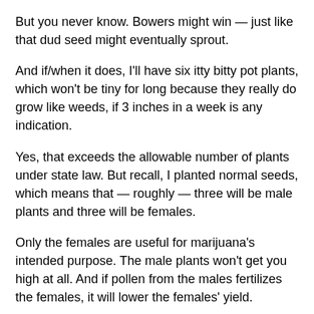But you never know. Bowers might win — just like that dud seed might eventually sprout.
And if/when it does, I'll have six itty bitty pot plants, which won't be tiny for long because they really do grow like weeds, if 3 inches in a week is any indication.
Yes, that exceeds the allowable number of plants under state law. But recall, I planted normal seeds, which means that — roughly — three will be male plants and three will be females.
Only the females are useful for marijuana's intended purpose. The male plants won't get you high at all. And if pollen from the males fertilizes the females, it will lower the females' yield.
So I'll kill the males plants once I've identified their genders. The likelihood is, I'll have between one and four virgin female plants after I get rid of the males.
Current law allows up to four plants per household at the same time. The state legislature is working hard to change the